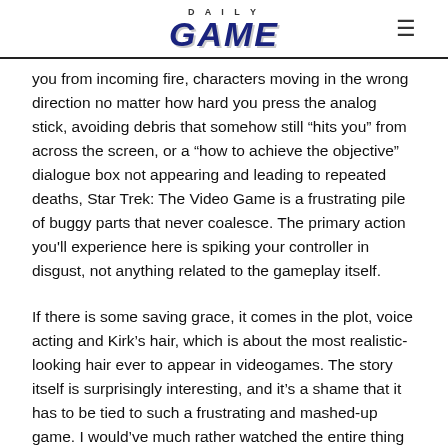DAILY GAME
you from incoming fire, characters moving in the wrong direction no matter how hard you press the analog stick, avoiding debris that somehow still “hits you” from across the screen, or a “how to achieve the objective” dialogue box not appearing and leading to repeated deaths, Star Trek: The Video Game is a frustrating pile of buggy parts that never coalesce. The primary action you'll experience here is spiking your controller in disgust, not anything related to the gameplay itself.
If there is some saving grace, it comes in the plot, voice acting and Kirk’s hair, which is about the most realistic-looking hair ever to appear in videogames. The story itself is surprisingly interesting, and it’s a shame that it has to be tied to such a frustrating and mashed-up game. I would’ve much rather watched the entire thing play out via cutscenes like a straight up